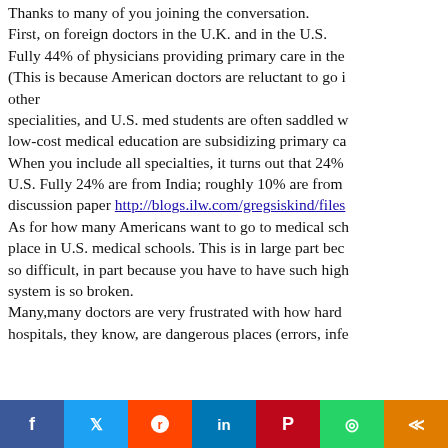Thanks to many of you joining the conversation. First, on foreign doctors in the U.K. and in the U.S. Fully 44% of physicians providing primary care in the (This is because American doctors are reluctant to go i other specialities, and U.S. med students are often saddled w low-cost medical education are subsidizing primary ca When you include all specialties, it turns out that 24% U.S. Fully 24% are from India; roughly 10% are from discussion paper http://blogs.ilw.com/gregsiskind/files As for how many Americans want to go to medical sch place in U.S. medical schools. This is in large part bec so difficult, in part because you have to have such high system is so broken. Many,many doctors are very frustrated with how hard hospitals, they know, are dangerous places (errors, infe
[Figure (infographic): Social media sharing bar with icons for Facebook (blue), Twitter (light blue), Reddit (orange-red), LinkedIn (blue), Pinterest (red), WhatsApp (green), and a share button (orange)]